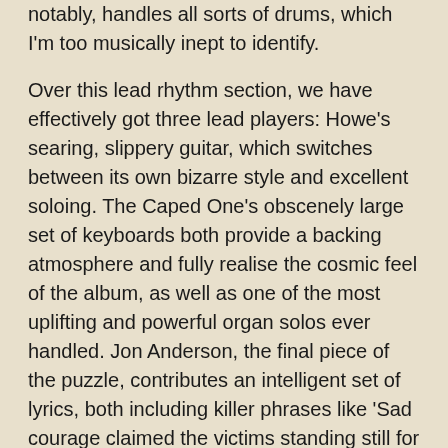notably, handles all sorts of drums, which I'm too musically inept to identify.
Over this lead rhythm section, we have effectively got three lead players: Howe's searing, slippery guitar, which switches between its own bizarre style and excellent soloing. The Caped One's obscenely large set of keyboards both provide a backing atmosphere and fully realise the cosmic feel of the album, as well as one of the most uplifting and powerful organ solos ever handled. Jon Anderson, the final piece of the puzzle, contributes an intelligent set of lyrics, both including killer phrases like 'Sad courage claimed the victims standing still for all to see/As armoured movers marched onwards to overlook the sea' and word choices for sound as well as what I like to call 'word feel' (when a word, usually an adjective, is there because its meaning provides a certain feel even if it's not vital to the sense). He also handles his high vocals with a bit of grit that wasn't there in "Fragile", and, while this isn't necessarily better, it does suit the song down to the ground. The accompanying harmonies which frequently feature are no less perfect. Essentially, this is the only line-up that could possibly have pulled off this song, and